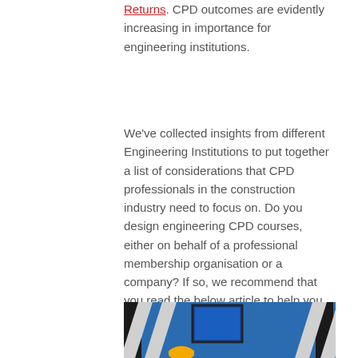Returns. CPD outcomes are evidently increasing in importance for engineering institutions.
We've collected insights from different Engineering Institutions to put together a list of considerations that CPD professionals in the construction industry need to focus on. Do you design engineering CPD courses, either on behalf of a professional membership organisation or a company? If so, we recommend that you read the below article to help you design this future engineering CPD.
[Figure (photo): Construction engineering photo showing steel structural framework against a blue sky background, with a hard hat visible at bottom]